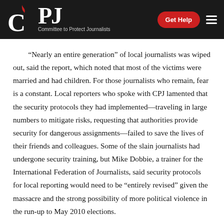CPJ — Committee to Protect Journalists | Get Help
“Nearly an entire generation” of local journalists was wiped out, said the report, which noted that most of the victims were married and had children. For those journalists who remain, fear is a constant. Local reporters who spoke with CPJ lamented that the security protocols they had implemented—traveling in large numbers to mitigate risks, requesting that authorities provide security for dangerous assignments—failed to save the lives of their friends and colleagues. Some of the slain journalists had undergone security training, but Mike Dobbie, a trainer for the International Federation of Journalists, said security protocols for local reporting would need to be “entrely revised” given the massacre and the strong possibility of more political violence in the run-up to May 2010 elections.